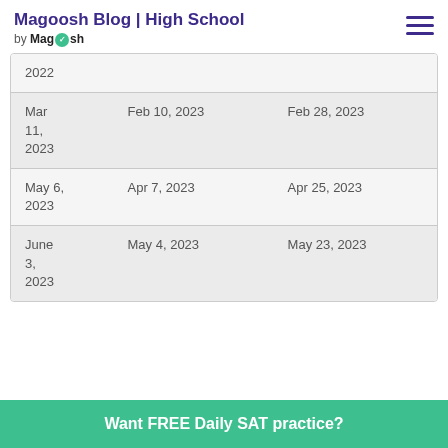Magoosh Blog | High School by Magoosh
| Test Date | Regular Deadline | Late Deadline |
| --- | --- | --- |
| 2022 |  |  |
| Mar 11, 2023 | Feb 10, 2023 | Feb 28, 2023 |
| May 6, 2023 | Apr 7, 2023 | Apr 25, 2023 |
| June 3, 2023 | May 4, 2023 | May 23, 2023 |
Want FREE Daily SAT practice?